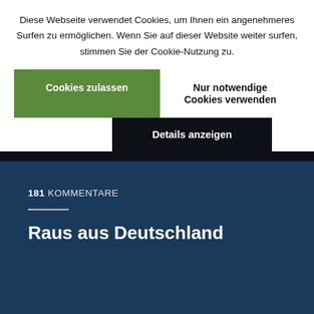Diese Webseite verwendet Cookies, um Ihnen ein angenehmeres Surfen zu ermöglichen. Wenn Sie auf dieser Website weiter surfen, stimmen Sie der Cookie-Nutzung zu.
Cookies zulassen
Nur notwendige Cookies verwenden
Details anzeigen
308 KOMMENTARE
Energie ist Wohlstand
181 KOMMENTARE
Raus aus Deutschland